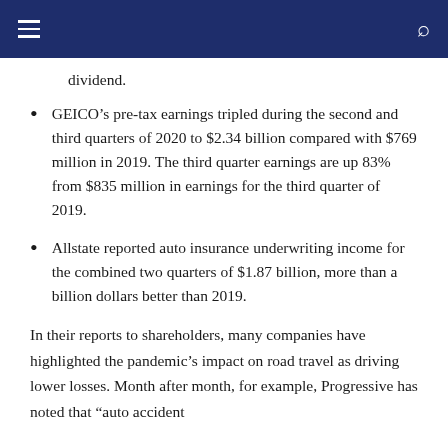dividend.
GEICO’s pre-tax earnings tripled during the second and third quarters of 2020 to $2.34 billion compared with $769 million in 2019. The third quarter earnings are up 83% from $835 million in earnings for the third quarter of 2019.
Allstate reported auto insurance underwriting income for the combined two quarters of $1.87 billion, more than a billion dollars better than 2019.
In their reports to shareholders, many companies have highlighted the pandemic’s impact on road travel as driving lower losses. Month after month, for example, Progressive has noted that “auto accident